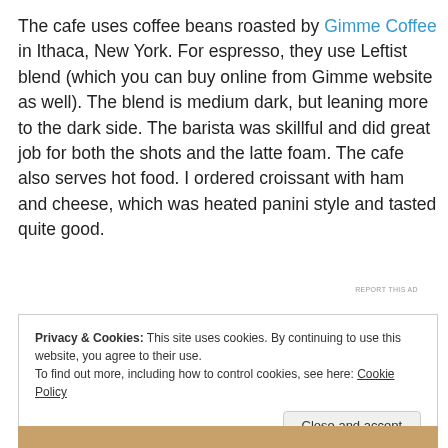The cafe uses coffee beans roasted by Gimme Coffee in Ithaca, New York. For espresso, they use Leftist blend (which you can buy online from Gimme website as well). The blend is medium dark, but leaning more to the dark side. The barista was skillful and did great job for both the shots and the latte foam. The cafe also serves hot food. I ordered croissant with ham and cheese, which was heated panini style and tasted quite good.
REPORT THIS AD
Privacy & Cookies: This site uses cookies. By continuing to use this website, you agree to their use. To find out more, including how to control cookies, see here: Cookie Policy
Close and accept
[Figure (photo): Bottom strip of a photo showing a latte art coffee drink]